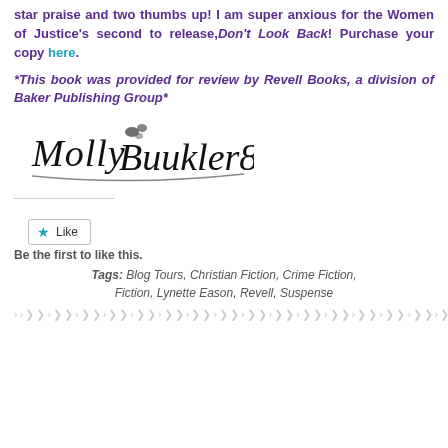star praise and two thumbs up! I am super anxious for the Women of Justice's second to release, Don't Look Back! Purchase your copy here.
*This book was provided for review by Revell Books, a division of Baker Publishing Group*
[Figure (illustration): Handwritten cursive signature reading 'Molly Buukler81']
Like
Be the first to like this.
Tags: Blog Tours, Christian Fiction, Crime Fiction, Fiction, Lynette Eason, Revell, Suspense